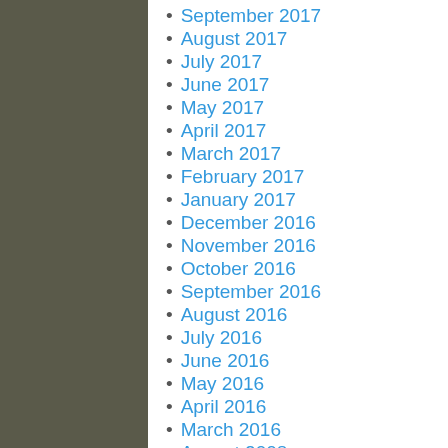September 2017
August 2017
July 2017
June 2017
May 2017
April 2017
March 2017
February 2017
January 2017
December 2016
November 2016
October 2016
September 2016
August 2016
July 2016
June 2016
May 2016
April 2016
March 2016
August 2008